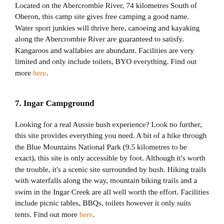Located on the Abercrombie River, 74 kilometres South of Oberon, this camp site gives free camping a good name. Water sport junkies will thrive here, canoeing and kayaking along the Abercrombie River are guaranteed to satisfy. Kangaroos and wallabies are abundant. Facilities are very limited and only include toilets, BYO everything. Find out more here.
7. Ingar Campground
Looking for a real Aussie bush experience? Look no further, this site provides everything you need. A bit of a hike through the Blue Mountains National Park (9.5 kilometres to be exact), this site is only accessible by foot. Although it's worth the trouble, it's a scenic site surrounded by bush. Hiking trails with waterfalls along the way, mountain biking trails and a swim in the Ingar Creek are all well worth the effort. Facilities include picnic tables, BBQs, toilets however it only suits tents. Find out more here.
8. Blackbird Flat Camping Ground
Located on the Macleay River, this camp site is perfect for fishing with Bass available during the right season. Have a swim in the river or go for a hike, canoeing and kayaking on the river are also